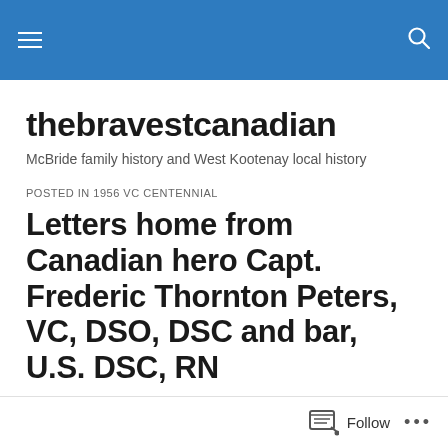thebravestcanadian navigation bar
thebravestcanadian
McBride family history and West Kootenay local history
POSTED IN 1956 VC CENTENNIAL
Letters home from Canadian hero Capt. Frederic Thornton Peters, VC, DSO, DSC and bar, U.S. DSC, RN
by Susan McBride
Follow